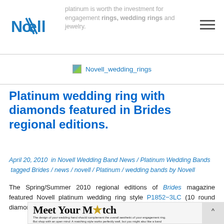platinum is worth the investment for engagement rings, wedding rings and jewelry.
[Figure (logo): Novell logo in blue with stylized N and diagonal lines]
[Figure (photo): Novell_wedding_rings image placeholder]
Platinum wedding ring with diamonds featured in Brides regional editions.
April 20, 2010 in Novell Wedding Band News / Platinum Wedding Bands tagged Brides / news / novell / Platinum / wedding bands by Novell
The Spring/Summer 2010 regional editions of Brides magazine featured Novell platinum wedding ring style P1852-3LC (10 round diamonds around the ring [.15 ct total weight]).
[Figure (screenshot): Magazine clip showing 'Meet Your Match' headline and text: The design of your wedding hand should complement the overall aesthetic of your engagement ring. But shop with an open mind: A matching style works perfectly well, but you might also like a band that offers a little more "wow" factor. Or how about a comparatively radical option—a band that]